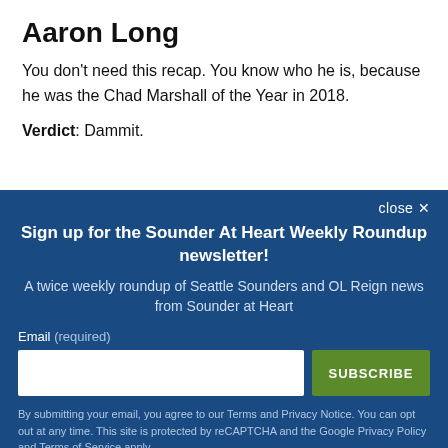Aaron Long
You don't need this recap. You know who he is, because he was the Chad Marshall of the Year in 2018.
Verdict: Dammit.
Sign up for the Sounder At Heart Weekly Roundup newsletter!
A twice weekly roundup of Seattle Sounders and OL Reign news from Sounder at Heart
Email (required)
SUBSCRIBE
By submitting your email, you agree to our Terms and Privacy Notice. You can opt out at any time. This site is protected by reCAPTCHA and the Google Privacy Policy and Terms of Service apply.